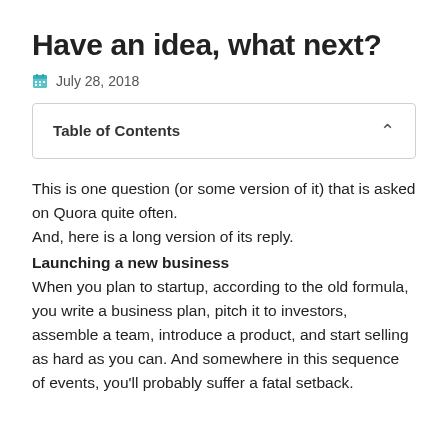Have an idea, what next?
July 28, 2018
Table of Contents
This is one question (or some version of it) that is asked on Quora quite often.
And, here is a long version of its reply.
Launching a new business
When you plan to startup, according to the old formula, you write a business plan, pitch it to investors, assemble a team, introduce a product, and start selling as hard as you can. And somewhere in this sequence of events, you'll probably suffer a fatal setback.